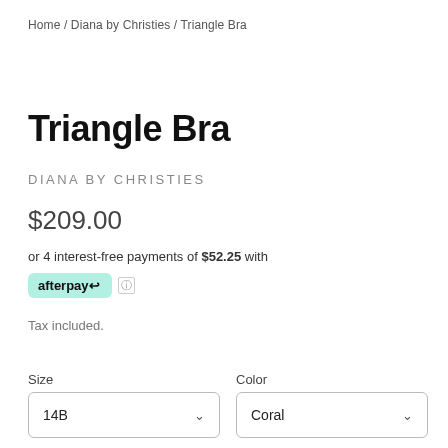Home / Diana by Christies / Triangle Bra
Triangle Bra
DIANA BY CHRISTIES
$209.00
or 4 interest-free payments of $52.25 with
[Figure (logo): Afterpay logo badge in mint/teal background]
Tax included.
Size
Color
14B
Coral